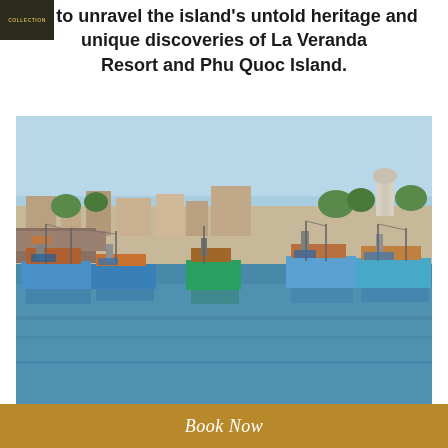us to unravel the island's untold heritage and unique discoveries of La Veranda Resort and Phu Quoc Island.
[Figure (photo): A busy harbor scene with colorful fishing boats (predominantly blue and teal) moored in calm blue water, with a town and palm trees visible in the background under a light blue sky.]
Book Now